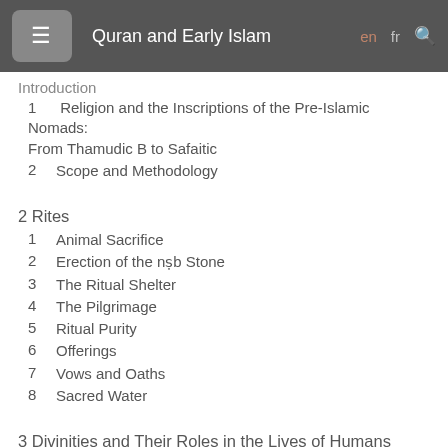Quran and Early Islam
Introduction
1   Religion and the Inscriptions of the Pre-Islamic Nomads: From Thamudic B to Safaitic
2   Scope and Methodology
2 Rites
1   Animal Sacrifice
2   Erection of the nṣb Stone
3   The Ritual Shelter
4   The Pilgrimage
5   Ritual Purity
6   Offerings
7   Vows and Oaths
8   Sacred Water
3 Divinities and Their Roles in the Lives of Humans
1   Location of the Deities